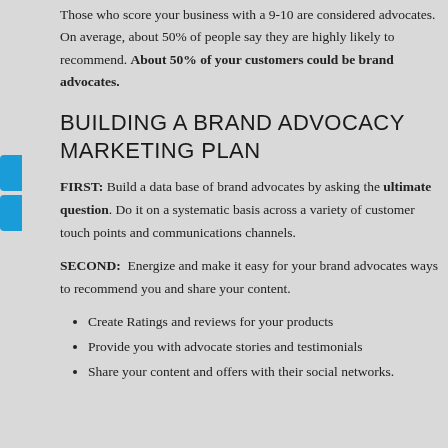Those who score your business with a 9-10 are considered advocates. On average, about 50% of people say they are highly likely to recommend. About 50% of your customers could be brand advocates.
BUILDING A BRAND ADVOCACY MARKETING PLAN
FIRST: Build a data base of brand advocates by asking the ultimate question. Do it on a systematic basis across a variety of customer touch points and communications channels.
SECOND: Energize and make it easy for your brand advocates ways to recommend you and share your content.
Create Ratings and reviews for your products
Provide you with advocate stories and testimonials
Share your content and offers with their social networks.